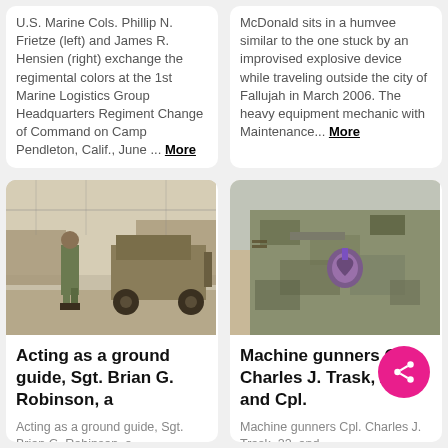U.S. Marine Cols. Phillip N. Frietze (left) and James R. Hensien (right) exchange the regimental colors at the 1st Marine Logistics Group Headquarters Regiment Change of Command on Camp Pendleton, Calif., June ... More
McDonald sits in a humvee similar to the one stuck by an improvised explosive device while traveling outside the city of Fallujah in March 2006. The heavy equipment mechanic with Maintenance... More
[Figure (photo): A soldier standing next to a Humvee military vehicle on a dusty base]
Acting as a ground guide, Sgt. Brian G. Robinson, a
Acting as a ground guide, Sgt. Brian G. Robinson, a
[Figure (photo): Close-up of military uniform with a purple heart medal pinned to it]
Machine gunners Cpl. Charles J. Trask, 22, and Cpl.
Machine gunners Cpl. Charles J. Trask, 22, and